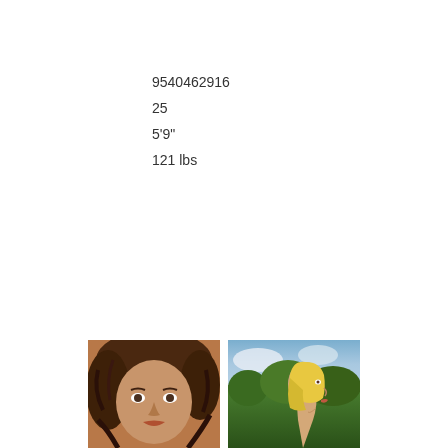9540462916
25
5'9"
121 lbs
[Figure (photo): Close-up photo of a young woman with brown curly hair]
[Figure (photo): Side profile photo of a young woman with blonde bob haircut, outdoors with trees and sky]